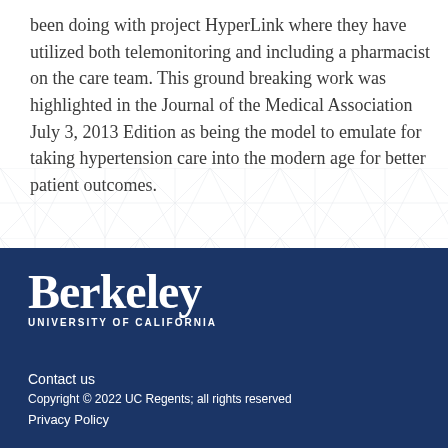been doing with project HyperLink where they have utilized both telemonitoring and including a pharmacist on the care team. This ground breaking work was highlighted in the Journal of the Medical Association July 3, 2013 Edition as being the model to emulate for taking hypertension care into the modern age for better patient outcomes.
[Figure (illustration): Geometric triangular pattern background decoration at the bottom of the white section]
[Figure (logo): Berkeley University of California logo in white on dark blue background]
Contact us
Copyright © 2022 UC Regents; all rights reserved
Privacy Policy